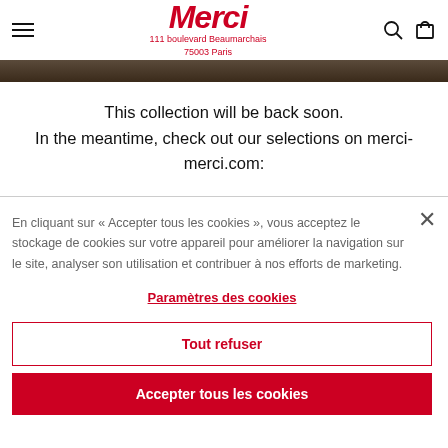Merci — 111 boulevard Beaumarchais, 75003 Paris
[Figure (photo): Dark wood surface or hero image strip at top of page]
This collection will be back soon.
In the meantime, check out our selections on merci-merci.com:
En cliquant sur « Accepter tous les cookies », vous acceptez le stockage de cookies sur votre appareil pour améliorer la navigation sur le site, analyser son utilisation et contribuer à nos efforts de marketing.
Paramètres des cookies
Tout refuser